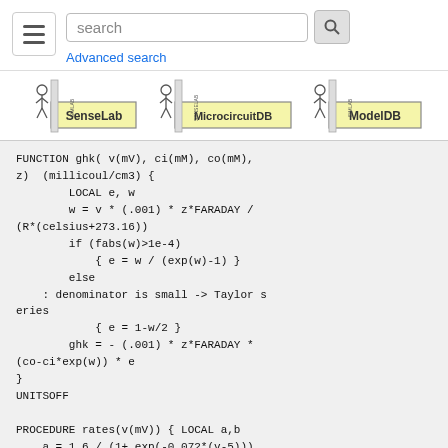search [search button] Advanced search
[Figure (illustration): Three logos displayed horizontally: SenseLab, MicrocircuitDB, ModelDB — each showing a cartoon scientist figure with a database icon]
FUNCTION ghk( v(mV), ci(mM), co(mM), z)  (millicoul/cm3) {
        LOCAL e, w
        w = v * (.001) * z*FARADAY / (R*(celsius+273.16))
        if (fabs(w)>1e-4)
            { e = w / (exp(w)-1) }
        else
    : denominator is small -> Taylor series
            { e = 1-w/2 }
        ghk = - (.001) * z*FARADAY * (co-ci*exp(w)) * e
}
UNITSOFF

PROCEDURE rates(v(mV)) { LOCAL a,b
    a = 1.6 / (1+ exp(-0.072*(v-5)))
    b = 0.02 * vtrap( -(v-1.31), 5.36)